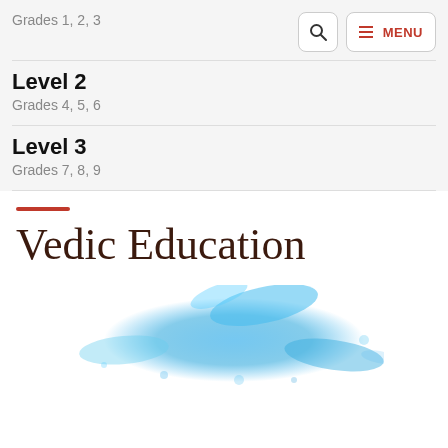Grades 1, 2, 3
Level 2
Grades 4, 5, 6
Level 3
Grades 7, 8, 9
Vedic Education
[Figure (illustration): Blue watercolor/powder splash at the bottom of the page]